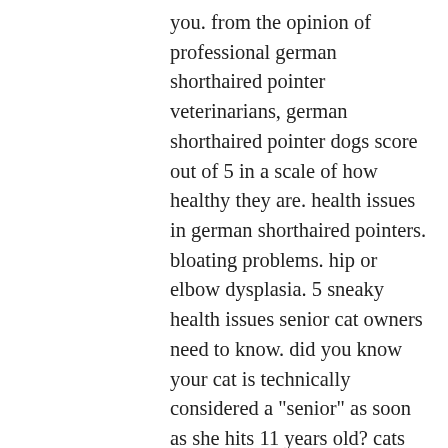you. from the opinion of professional german shorthaired pointer veterinarians, german shorthaired pointer dogs score out of 5 in a scale of how healthy they are. health issues in german shorthaired pointers. bloating problems. hip or elbow dysplasia. 5 sneaky health issues senior cat owners need to know. did you know your cat is technically considered a "senior" as soon as she hits 11 years old? cats age really quickly as kittens their first 2 years are equal to our first 25! but once they hit adulthood they age at around four times as fast as humans. Health. the german shorthaired pointer, which has an average lifespan of 12 to 14 years, is prone to minor health concerns like gastric torsion, hypothyroidism, canine hip dysplasia ( chd ), osteochondrosis dissecans (ocd), von willebrand's disease ( vwd ), entropion, and pannus, and major issues such as